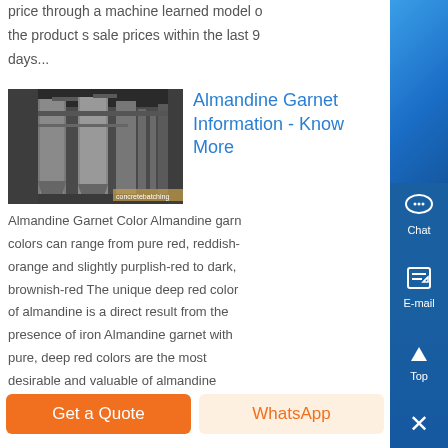…price through a machine learned model of the product s sale prices within the last 9 days…
[Figure (photo): Industrial machinery — large cylindrical processing equipment inside a factory or plant, gray steel columns and cyclone separators.]
Almandine Garnet Information - Know More
Almandine Garnet Color Almandine garnet colors can range from pure red, reddish-orange and slightly purplish-red to dark, brownish-red The unique deep red color of almandine is a direct result from the presence of iron Almandine garnet with pure, deep red colors are the most desirable and valuable of almandine ston…
Get a Quote
WhatsApp